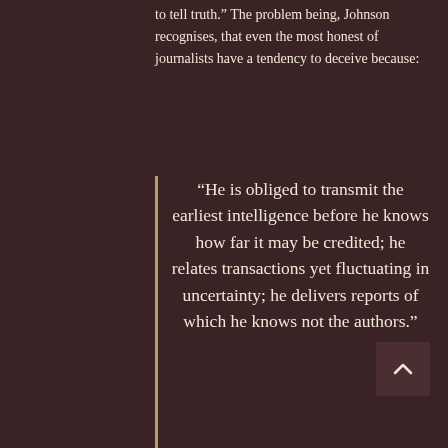to tell truth.” The problem being, Johnson recognises, that even the most honest of journalists have a tendency to deceive because:
“He is obliged to transmit the earliest intelligence before he knows how far it may be credited; he relates transactions yet fluctuating in uncertainty; he delivers reports of which he knows not the authors.”
Sound familiar?
Even in the mid-18th century, readers wanted news stories at the earliest possible